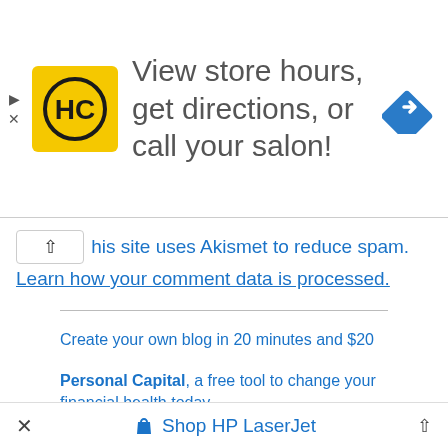[Figure (other): Advertisement banner with HC logo and text: View store hours, get directions, or call your salon! with a blue navigation diamond icon on the right.]
This site uses Akismet to reduce spam. Learn how your comment data is processed.
Create your own blog in 20 minutes and $20
Personal Capital, a free tool to change your financial health today
I use and suggest Upstart, for your personal loan need
CreditKarma, a free tool to check your credit scorey
I use Coinbase, for my crypto investments
× Shop HP LaserJet ^